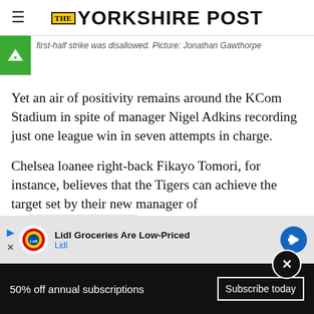THE YORKSHIRE POST
first-half strike was disallowed. Picture: Jonathan Gawthorpe
Yet an air of positivity remains around the KCom Stadium in spite of manager Nigel Adkins recording just one league win in seven attempts in charge.
Chelsea loanee right-back Fikayo Tomori, for instance, believes that the Tigers can achieve the target set by their new manager of rec... matches.
[Figure (infographic): Lidl Groceries Are Low-Priced advertisement banner with Lidl logo and blue arrow icon]
50% off annual subscriptions
Subscribe today